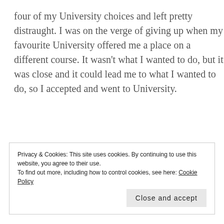four of my University choices and left pretty distraught. I was on the verge of giving up when my favourite University offered me a place on a different course. It wasn't what I wanted to do, but it was close and it could lead me to what I wanted to do, so I accepted and went to University.
[Figure (other): Pressable advertisement banner with blue bar, Pressable logo icon and name, and dotted line separator]
The Platform
Privacy & Cookies: This site uses cookies. By continuing to use this website, you agree to their use. To find out more, including how to control cookies, see here: Cookie Policy
Close and accept